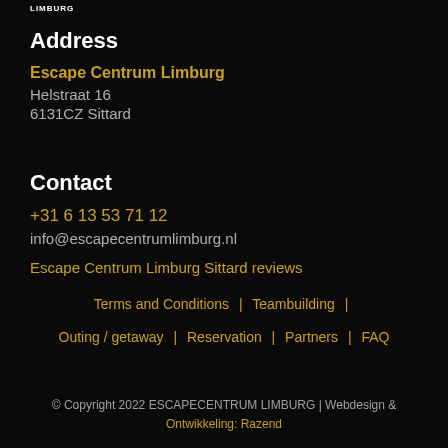LIMBURG
Address
Escape Centrum Limburg
Helstraat 16
6131CZ Sittard
Contact
+31 6 13 53 71 12
info@escapecentrumlimburg.nl
Escape Centrum Limburg Sittard reviews
Terms and Conditions  |  Teambuilding  |  Outing / getaway  |  Reservation  |  Partners  |  FAQ
© Copyright 2022 ESCAPECENTRUM LIMBURG | Webdesign & Ontwikkeling: Razend